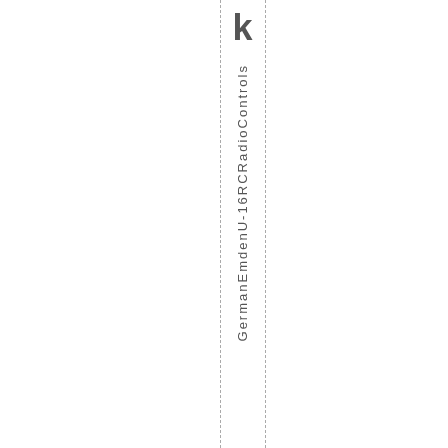k
German Emden U-16RC RadioControls